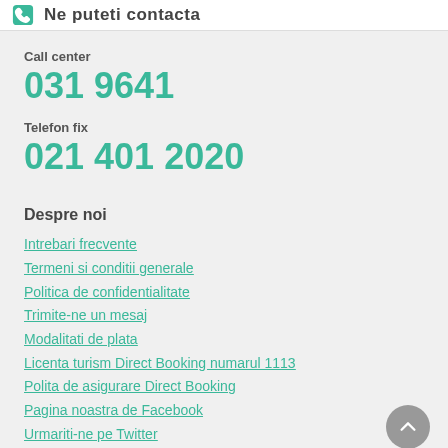Ne puteti contacta
Call center
031 9641
Telefon fix
021 401 2020
Despre noi
Intrebari frecvente
Termeni si conditii generale
Politica de confidentialitate
Trimite-ne un mesaj
Modalitati de plata
Licenta turism Direct Booking numarul 1113
Polita de asigurare Direct Booking
Pagina noastra de Facebook
Urmariti-ne pe Twitter